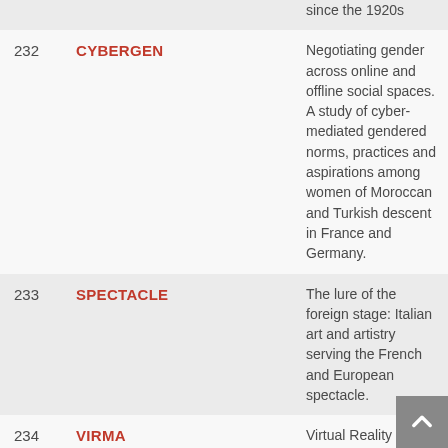| # | Code | Description |
| --- | --- | --- |
|  |  | since the 1920s |
| 232 | CYBERGEN | Negotiating gender across online and offline social spaces. A study of cyber-mediated gendered norms, practices and aspirations among women of Moroccan and Turkish descent in France and Germany. |
| 233 | SPECTACLE | The lure of the foreign stage: Italian art and artistry serving the French and European spectacle. |
| 234 | VIRMA | Virtual Reality |